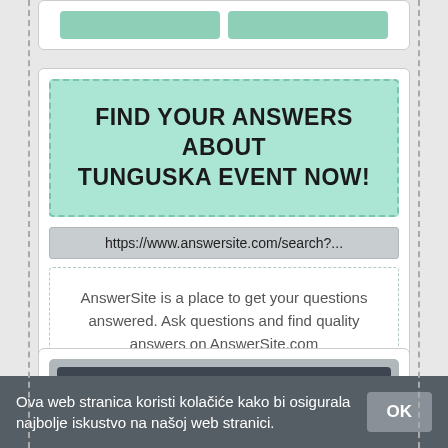[Figure (screenshot): Partial view of a card with two teal buttons at the top of the page]
FIND YOUR ANSWERS ABOUT TUNGUSKA EVENT NOW!
https://www.answersite.com/search?...
AnswerSite is a place to get your questions answered. Ask questions and find quality answers on AnswerSite.com
ONLINE
Ova web stranica koristi kolačiće kako bi osigurala najbolje iskustvo na našoj web stranici.
OK